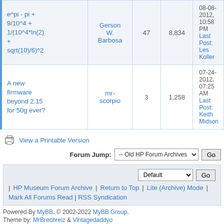| Topic | Author | Replies | Views | Last Post |
| --- | --- | --- | --- | --- |
| e^pi - pi + 9/10^4 + 1/(10^4*ln(2) + sqrt(10)/6)^2 | Gerson W. Barbosa | 47 | 8,834 | 08-08-2012, 10:58 PM
Last Post: Les Koller |
| A new firmware beyond 2.15 for 50g ever? | mr-scorpio | 3 | 1,258 | 07-24-2012, 07:25 AM
Last Post: Keith Midson |
View a Printable Version
Forum Jump: -- Old HP Forum Archives  Go
Default  Go
| HP Museum Forum Archive | Return to Top | Lite (Archive) Mode | Mark All Forums Read | RSS Syndication
Powered By MyBB, © 2002-2022 MyBB Group. Theme by: MrBrechreiz & Vintagedaddyo